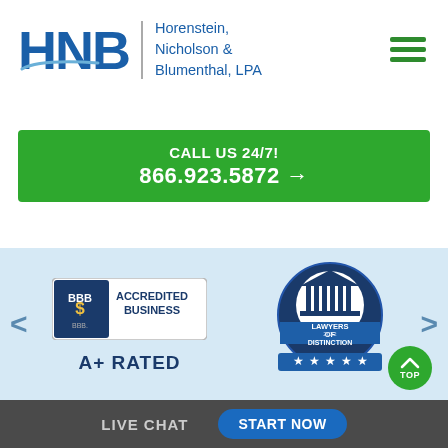[Figure (logo): HNB law firm logo with blue letters and swoosh, and firm name Horenstein, Nicholson & Blumenthal, LPA]
CALL US 24/7!
866.923.5872 →
[Figure (logo): BBB Accredited Business badge with A+ RATED text below]
[Figure (logo): Lawyers of Distinction 2022 badge with 5 stars]
LIVE CHAT
START NOW